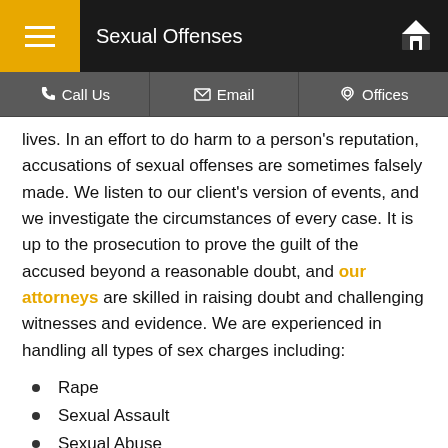Sexual Offenses
lives. In an effort to do harm to a person's reputation, accusations of sexual offenses are sometimes falsely made. We listen to our client's version of events, and we investigate the circumstances of every case. It is up to the prosecution to prove the guilt of the accused beyond a reasonable doubt, and our attorneys are skilled in raising doubt and challenging witnesses and evidence. We are experienced in handling all types of sex charges including:
Rape
Sexual Assault
Sexual Abuse
Sexual Battery
Child Molestation
Child Pornography
Prostitution
Indecent Exposure